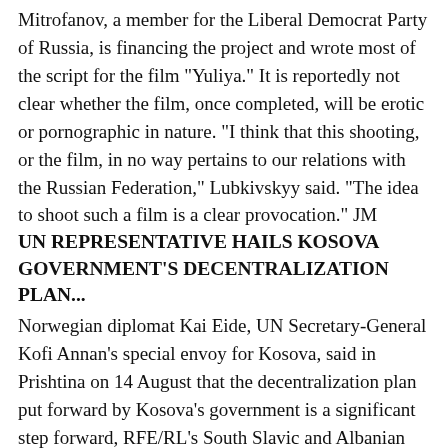Mitrofanov, a member for the Liberal Democrat Party of Russia, is financing the project and wrote most of the script for the film "Yuliya." It is reportedly not clear whether the film, once completed, will be erotic or pornographic in nature. "I think that this shooting, or the film, in no way pertains to our relations with the Russian Federation," Lubkivskyy said. "The idea to shoot such a film is a clear provocation." JM
UN REPRESENTATIVE HAILS KOSOVA GOVERNMENT'S DECENTRALIZATION PLAN...
Norwegian diplomat Kai Eide, UN Secretary-General Kofi Annan's special envoy for Kosova, said in Prishtina on 14 August that the decentralization plan put forward by Kosova's government is a significant step forward, RFE/RL's South Slavic and Albanian